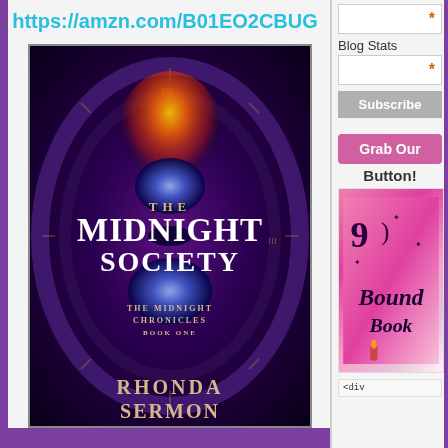https://amzn.com/B01EO2CBUG
[Figure (illustration): Book cover for 'The Midnight Society' by Rhonda Sermon - The Midnight Chronicles Book One. Dark fantasy cover featuring an hourglass shape with fire glow, blue gems, and swirling clock imagery on a purple/dark background.]
[Figure (screenshot): Blog sidebar with input fields marked with asterisks, Blog Stats label, Subscribe button, Grab Our Button label, and a pink/magenta book button image for Bound Book.]
Blog Stats
Subscribe
Grab Our
Button!
<div